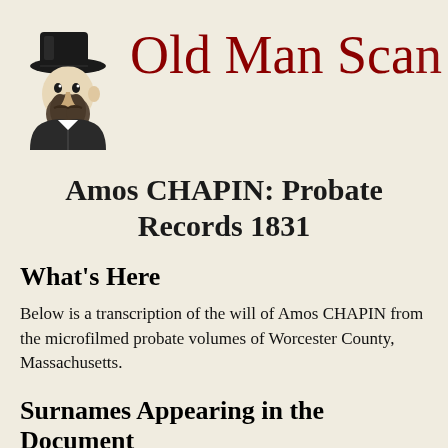Old Man Scan
[Figure (illustration): Black and white sketch of an old man wearing a top hat, facing right]
Amos CHAPIN: Probate Records 1831
What's Here
Below is a transcription of the will of Amos CHAPIN from the microfilmed probate volumes of Worcester County, Massachusetts.
Surnames Appearing in the Document